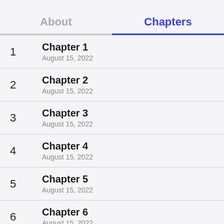About   Chapters
1  Chapter 1  August 15, 2022
2  Chapter 2  August 15, 2022
3  Chapter 3  August 15, 2022
4  Chapter 4  August 15, 2022
5  Chapter 5  August 15, 2022
6  Chapter 6  August 15, 2022
7  Chapter 7  (partial)